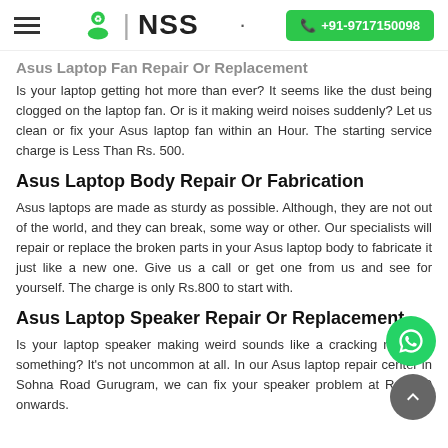☰  NSS  · +91-9717150098
Asus Laptop Fan Repair Or Replacement
Is your laptop getting hot more than ever? It seems like the dust being clogged on the laptop fan. Or is it making weird noises suddenly? Let us clean or fix your Asus laptop fan within an Hour. The starting service charge is Less Than Rs. 500.
Asus Laptop Body Repair Or Fabrication
Asus laptops are made as sturdy as possible. Although, they are not out of the world, and they can break, some way or other. Our specialists will repair or replace the broken parts in your Asus laptop body to fabricate it just like a new one. Give us a call or get one from us and see for yourself. The charge is only Rs.800 to start with.
Asus Laptop Speaker Repair Or Replacement
Is your laptop speaker making weird sounds like a cracking noise or something? It's not uncommon at all. In our Asus laptop repair center in Sohna Road Gurugram, we can fix your speaker problem at Rs. 500 onwards.